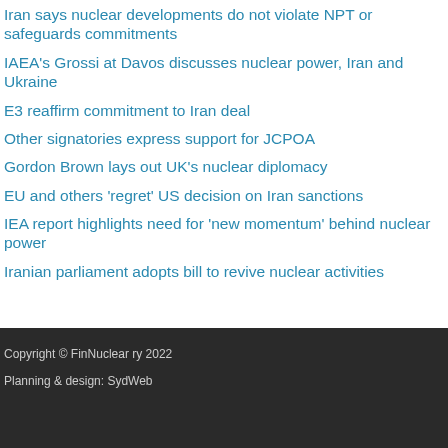Iran says nuclear developments do not violate NPT or safeguards commitments
IAEA's Grossi at Davos discusses nuclear power, Iran and Ukraine
E3 reaffirm commitment to Iran deal
Other signatories express support for JCPOA
Gordon Brown lays out UK's nuclear diplomacy
EU and others 'regret' US decision on Iran sanctions
IEA report highlights need for 'new momentum' behind nuclear power
Iranian parliament adopts bill to revive nuclear activities
Copyright © FinNuclear ry 2022
Planning & design: SydWeb